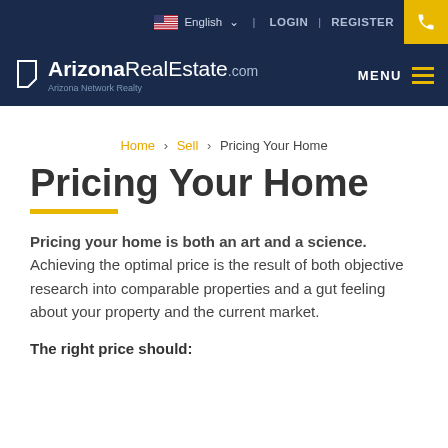English  LOGIN  REGISTER
[Figure (logo): ArizonaRealEstate.com logo with Arizona Network Realty tagline and navigation menu]
Home > Sell > Pricing Your Home
Pricing Your Home
Pricing your home is both an art and a science. Achieving the optimal price is the result of both objective research into comparable properties and a gut feeling about your property and the current market.
The right price should: